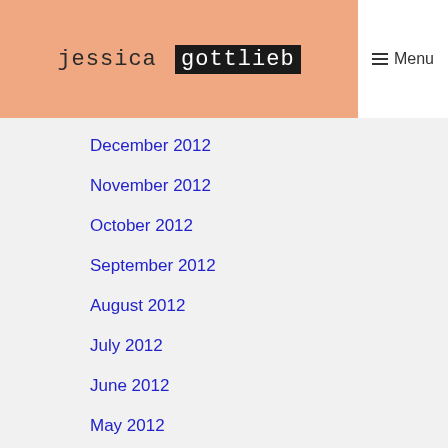jessica gottlieb
Menu
December 2012
November 2012
October 2012
September 2012
August 2012
July 2012
June 2012
May 2012
April 2012